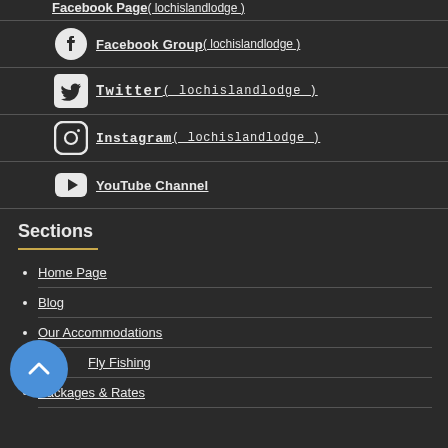Facebook Page ( lochislandlodge )
Facebook Group ( lochislandlodge )
Twitter ( lochislandlodge )
Instagram ( lochislandlodge )
YouTube Channel
Sections
Home Page
Blog
Our Accommodations
Fly Fishing
Packages & Rates